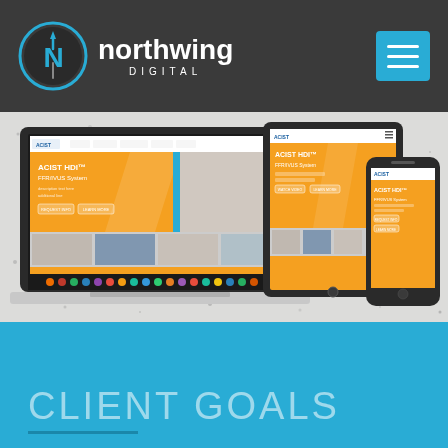northwing DIGITAL
[Figure (screenshot): Responsive website mockup showing ACIST HDI website displayed on laptop, tablet, and smartphone devices against a light concrete/speckled background]
CLIENT GOALS